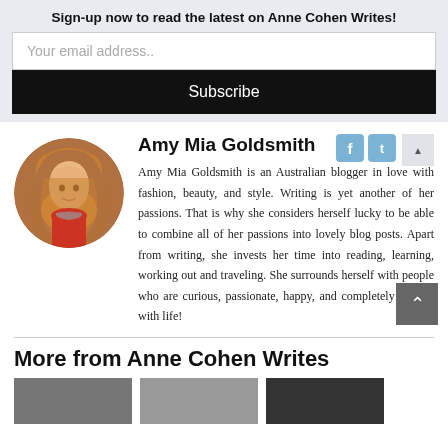Sign-up now to read the latest on Anne Cohen Writes!
Your email address..
Subscribe
[Figure (photo): Circular profile photo of Amy Mia Goldsmith, a woman with wavy blonde hair wearing a red top and necklace]
Amy Mia Goldsmith
Amy Mia Goldsmith is an Australian blogger in love with fashion, beauty, and style. Writing is yet another of her passions. That is why she considers herself lucky to be able to combine all of her passions into lovely blog posts. Apart from writing, she invests her time into reading, learning, working out and traveling. She surrounds herself with people who are curious, passionate, happy, and completely in love with life!
More from Anne Cohen Writes